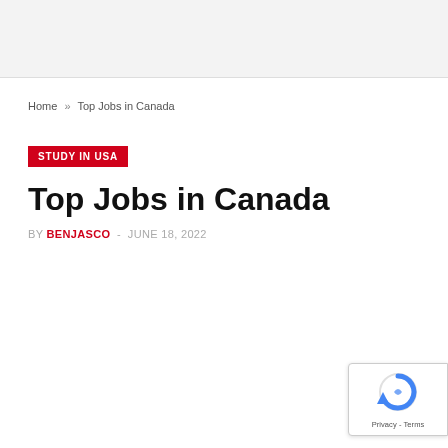Home » Top Jobs in Canada
STUDY IN USA
Top Jobs in Canada
BY BENJASCO - JUNE 18, 2022
[Figure (logo): reCAPTCHA badge with Privacy and Terms links]